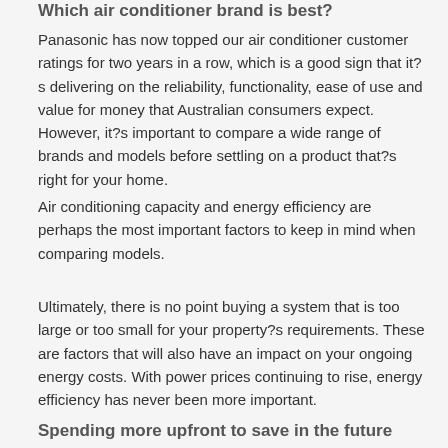Which air conditioner brand is best?
Panasonic has now topped our air conditioner customer ratings for two years in a row, which is a good sign that it?s delivering on the reliability, functionality, ease of use and value for money that Australian consumers expect. However, it?s important to compare a wide range of brands and models before settling on a product that?s right for your home.
Air conditioning capacity and energy efficiency are perhaps the most important factors to keep in mind when comparing models.
Ultimately, there is no point buying a system that is too large or too small for your property?s requirements. These are factors that will also have an impact on your ongoing energy costs. With power prices continuing to rise, energy efficiency has never been more important.
Spending more upfront to save in the future